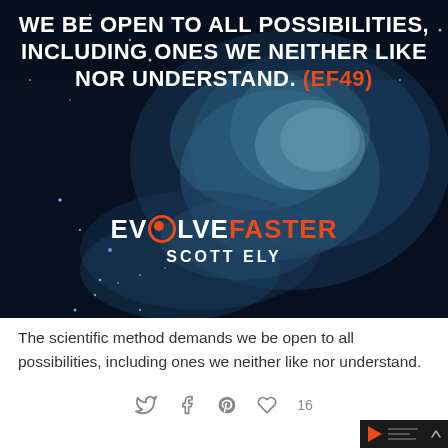[Figure (illustration): Dark cosmic nebula/galaxy background image with a glowing blue-white cloud formation suggesting a human profile silhouette. Stars and light particles scattered throughout the dark space background. Overlaid with white bold text reading 'WE BE OPEN TO ALL POSSIBILITIES, INCLUDING ONES WE NEITHER LIKE NOR UNDERSTAND. (EF49)' and the branding 'EVOLVEFASTER SCOTT ELY']
The scientific method demands we be open to all possibilities, including ones we neither like nor understand.
[Figure (infographic): Social sharing icons: Twitter bird, Facebook f, Pinterest P, heart icon with count 16]